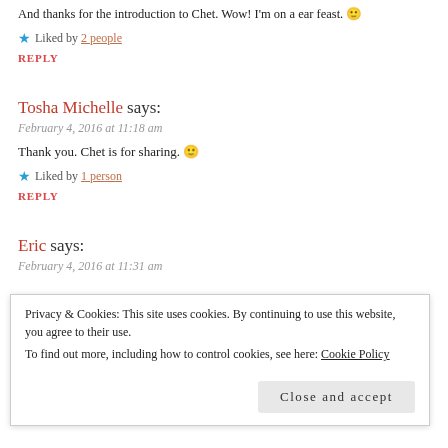And thanks for the introduction to Chet. Wow! I'm on a ear feast. 🙂
★ Liked by 2 people
REPLY
Tosha Michelle says:
February 4, 2016 at 11:18 am
Thank you. Chet is for sharing. 🙂
★ Liked by 1 person
REPLY
Eric says:
February 4, 2016 at 11:31 am
Privacy & Cookies: This site uses cookies. By continuing to use this website, you agree to their use. To find out more, including how to control cookies, see here: Cookie Policy
Close and accept